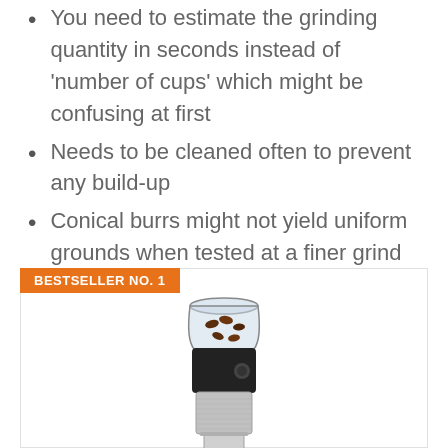You need to estimate the grinding quantity in seconds instead of 'number of cups' which might be confusing at first
Needs to be cleaned often to prevent any build-up
Conical burrs might not yield uniform grounds when tested at a finer grind setting
Might not last long
BESTSELLER NO. 1
[Figure (photo): Photo of a stainless steel conical burr coffee grinder with a glass bean hopper on top and a small metal grounds container at the bottom]